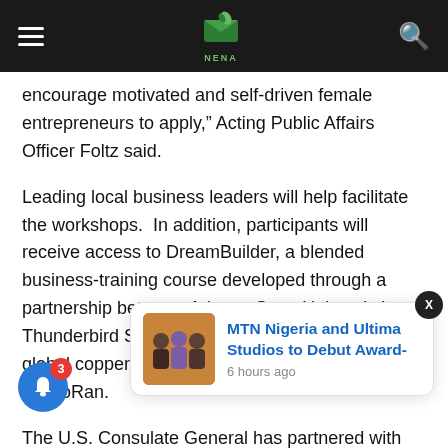NENA [logo] navigation bar
encourage motivated and self-driven female entrepreneurs to apply,” Acting Public Affairs Officer Foltz said.
Leading local business leaders will help facilitate the workshops.  In addition, participants will receive access to DreamBuilder, a blended business-training course developed through a partnership between Arizona State University’s Thunderbird School of Global Management and global copper mining company Freeport-McMoRan.
The U.S. Consulate General has partnered with Ascend Studios [... notification overlay ...] Chief Executive [...] awal, said [...] General in Lagos has partnered with us for the second time